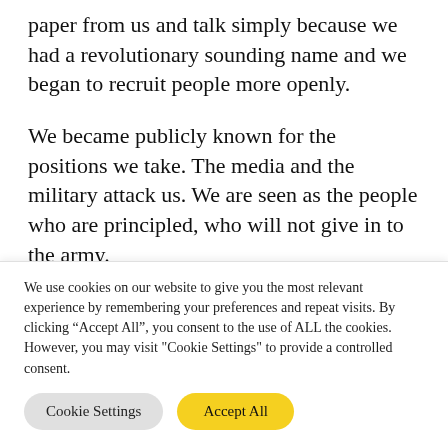paper from us and talk simply because we had a revolutionary sounding name and we began to recruit people more openly.
We became publicly known for the positions we take. The media and the military attack us. We are seen as the people who are principled, who will not give in to the army.
It’s very easy to fit people in. New comrades
We use cookies on our website to give you the most relevant experience by remembering your preferences and repeat visits. By clicking “Accept All”, you consent to the use of ALL the cookies. However, you may visit "Cookie Settings" to provide a controlled consent.